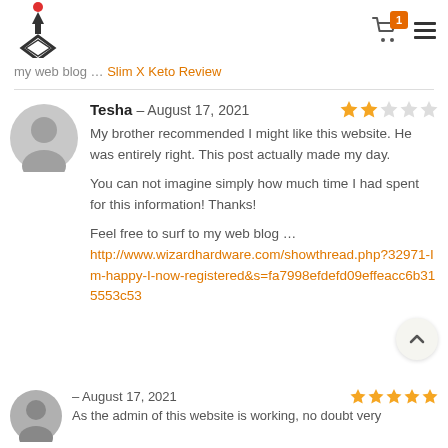Logo and navigation header with cart (1 item) and menu icon
my web blog … Slim X Keto Review
Tesha – August 17, 2021
My brother recommended I might like this website. He was entirely right. This post actually made my day.

You can not imagine simply how much time I had spent for this information! Thanks!

Feel free to surf to my web blog … http://www.wizardhardware.com/showthread.php?32971-Im-happy-I-now-registered&s=fa7998efdefd09effeacc6b315553c53
August 17, 2021
As the admin of this website is working, no doubt very